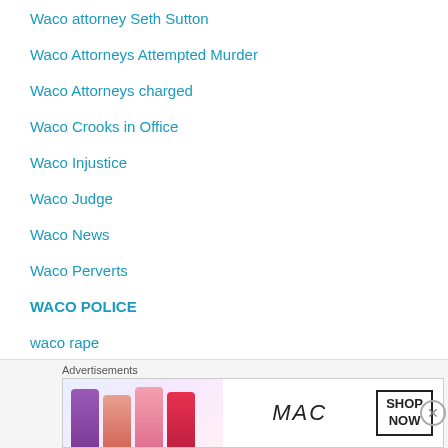Waco attorney Seth Sutton
Waco Attorneys Attempted Murder
Waco Attorneys charged
Waco Crooks in Office
Waco Injustice
Waco Judge
Waco News
Waco Perverts
WACO POLICE
waco rape
Waco School Superintendent
[Figure (other): MAC cosmetics advertisement banner showing lipsticks and SHOP NOW box]